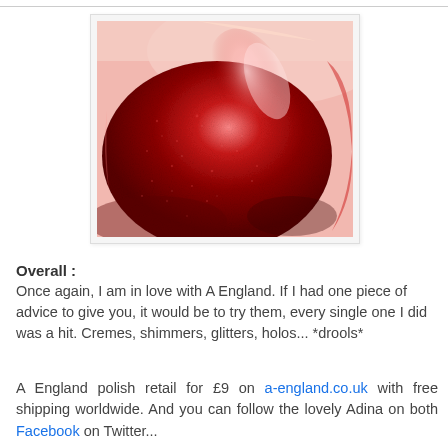[Figure (photo): Close-up macro photograph of a fingernail painted with a deep red shimmer nail polish, showing glitter and shimmer particles on a curved nail surface with pink skin visible at top.]
Overall :
Once again, I am in love with A England. If I had one piece of advice to give you, it would be to try them, every single one I did was a hit. Cremes, shimmers, glitters, holos... *drools*
A England polish retail for £9 on a-england.co.uk with free shipping worldwide. And you can follow the lovely Adina on both Facebook on Twitter...